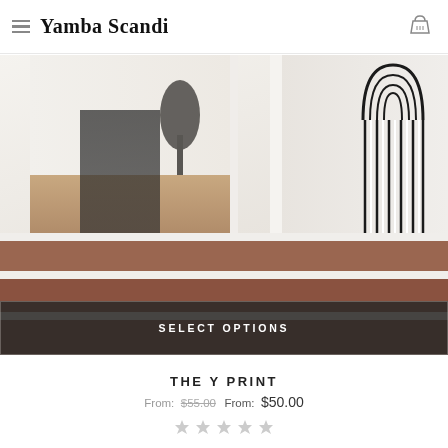Yamba Scandi
[Figure (photo): Interior hallway photo showing wooden steps/stairs with white risers, a white corridor leading to a living area with dark plant silhouette, and a black-and-white striped macrame wall hanging on the right wall. Button overlay reads SELECT OPTIONS.]
THE Y PRINT
From: $55.00 From: $50.00
★ ★ ★ ★ ★